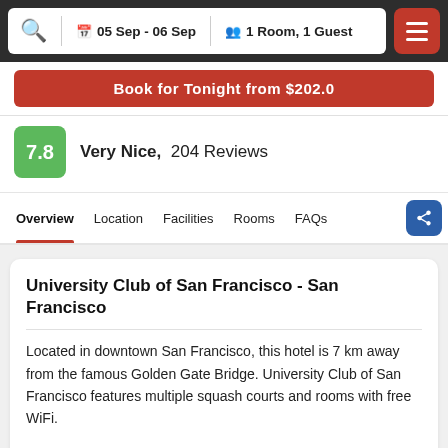05 Sep - 06 Sep   1 Room, 1 Guest
Book for Tonight from $202.0
7.8  Very Nice,  204 Reviews
Overview  Location  Facilities  Rooms  FAQs
University Club of San Francisco - San Francisco
Located in downtown San Francisco, this hotel is 7 km away from the famous Golden Gate Bridge. University Club of San Francisco features multiple squash courts and rooms with free WiFi.
Rooms Types
[Figure (photo): Room image strip showing wooden furniture detail]